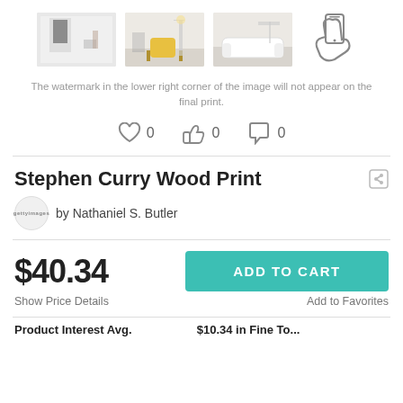[Figure (photo): Four thumbnail images: room with framed poster, room with yellow chair, room with white sofa, hand holding phone icon]
The watermark in the lower right corner of the image will not appear on the final print.
[Figure (infographic): Social interaction row: heart icon with 0, thumbs up icon with 0, comment bubble icon with 0]
Stephen Curry Wood Print
gettyimages by Nathaniel S. Butler
$40.34
ADD TO CART
Show Price Details
Add to Favorites